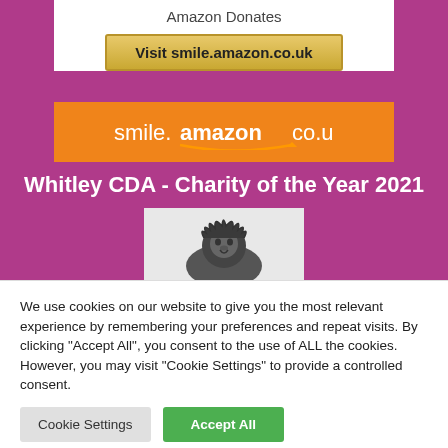Amazon Donates
Visit smile.amazon.co.uk
[Figure (logo): smile.amazon.co.uk logo in white text on orange background with Amazon smile arrow]
Whitley CDA - Charity of the Year 2021
[Figure (photo): Black and white photo of a stone lion statue roaring, photographed from below against a white sky]
We use cookies on our website to give you the most relevant experience by remembering your preferences and repeat visits. By clicking "Accept All", you consent to the use of ALL the cookies. However, you may visit "Cookie Settings" to provide a controlled consent.
Cookie Settings
Accept All